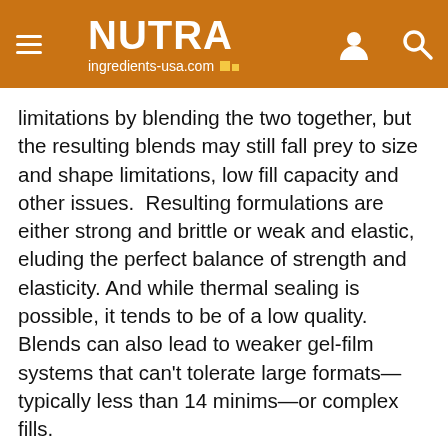NUTRA ingredients-usa.com
limitations by blending the two together, but the resulting blends may still fall prey to size and shape limitations, low fill capacity and other issues.  Resulting formulations are either strong and brittle or weak and elastic, eluding the perfect balance of strength and elasticity. And while thermal sealing is possible, it tends to be of a low quality. Blends can also lead to weaker gel-film systems that can't tolerate large formats—typically less than 14 minims—or complex fills.
This website uses cookies. By continuing to browse our website, you are agreeing to our use of cookies. You can learn more about cookies by visiting our privacy & cookies policy page.
I Agree